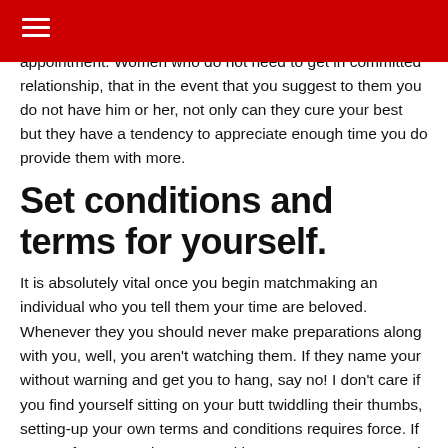appointment. Women who do not need to get in committed relationship, that in the event that you suggest to them you do not have him or her, not only can they cure your best but they have a tendency to appreciate enough time you do provide them with more.
Set conditions and terms for yourself.
It is absolutely vital once you begin matchmaking an individual who you tell them your time are beloved. Whenever they you should never make preparations along with you, well, you aren't watching them. If they name your without warning and get you to hang, say no! I don't care if you find yourself sitting on your butt twiddling their thumbs, setting-up your own terms and conditions requires force. If you prefer your and come up with agreements as opposed to having to waiting by the cellular phone until the guy phone calls, you best put their